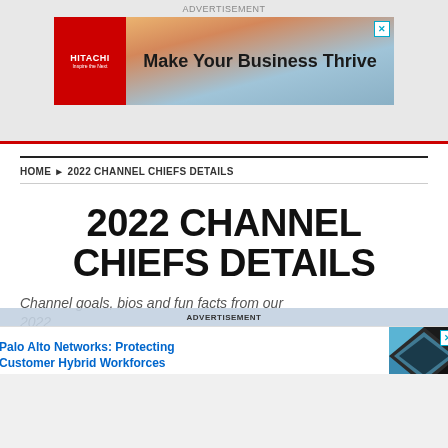ADVERTISEMENT
[Figure (illustration): Hitachi advertisement banner: red Hitachi logo on left, landscape background with mountains and sunrise, text 'Make Your Business Thrive', close X button top right]
HOME ▶ 2022 CHANNEL CHIEFS DETAILS
2022 CHANNEL CHIEFS DETAILS
Channel goals, bios and fun facts from our 2022
[Figure (illustration): Palo Alto Networks advertisement: text 'Palo Alto Networks: Protecting Customer Hybrid Workforces' with geometric diamond/triangle graphic on right in black and blue tones, close X button]